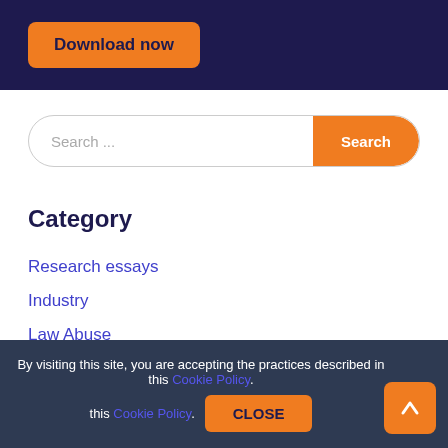[Figure (screenshot): Dark navy blue banner with orange Download now button]
Download now
Search ...
Category
Research essays
Industry
Law Abuse
Organization
Free example samples
Accounting essays
Mathematics
The english language
By visiting this site, you are accepting the practices described in this Cookie Policy.